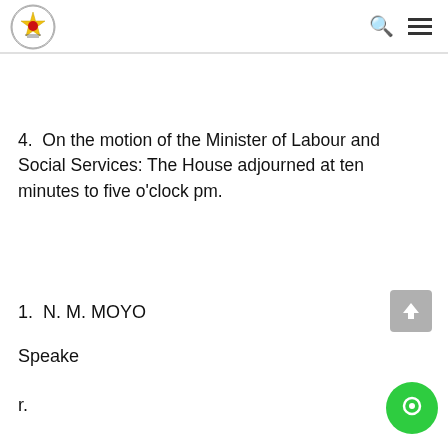Parliament of Zimbabwe - header with logo, search icon, and menu icon
4. On the motion of the Minister of Labour and Social Services: The House adjourned at ten minutes to five o'clock pm.
1. N. M. MOYO
Speake
r.